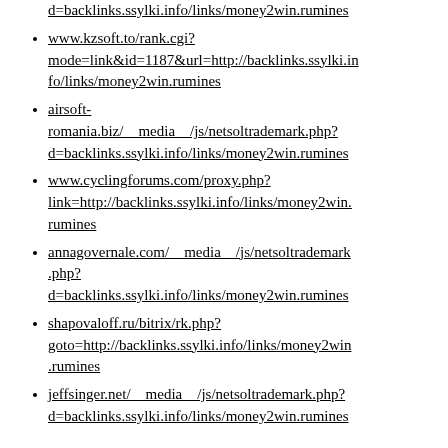...www.something__media__/js/netsoltrademark.php?d=backlinks.ssylki.info/links/money2win.rumines
www.kzsoft.to/rank.cgi?mode=link&id=1187&url=http://backlinks.ssylki.info/links/money2win.rumines
airsoft-romania.biz/__media__/js/netsoltrademark.php?d=backlinks.ssylki.info/links/money2win.rumines
www.cyclingforums.com/proxy.php?link=http://backlinks.ssylki.info/links/money2win.rumines
annagovernale.com/__media__/js/netsoltrademark.php?d=backlinks.ssylki.info/links/money2win.rumines
shapovaloff.ru/bitrix/rk.php?goto=http://backlinks.ssylki.info/links/money2win.rumines
jeffsinger.net/__media__/js/netsoltrademark.php?d=backlinks.ssylki.info/links/money2win.rumines